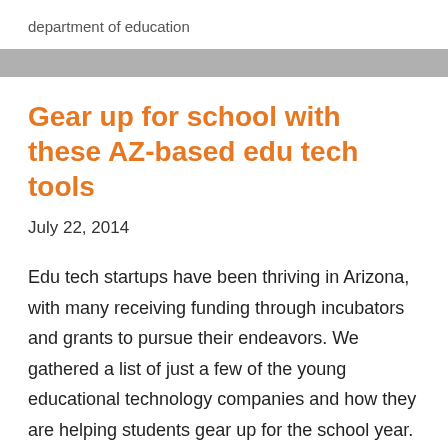department of education
Gear up for school with these AZ-based edu tech tools
July 22, 2014
Edu tech startups have been thriving in Arizona, with many receiving funding through incubators and grants to pursue their endeavors. We gathered a list of just a few of the young educational technology companies and how they are helping students gear up for the school year.